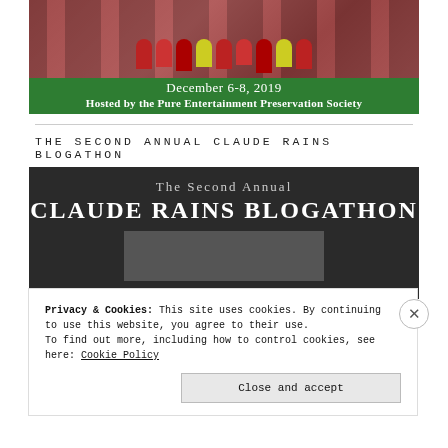[Figure (photo): Top banner with green background showing a group photo in Christmas/holiday attire, with text 'December 6-8, 2019' and 'Hosted by the Pure Entertainment Preservation Society']
THE SECOND ANNUAL CLAUDE RAINS BLOGATHON
[Figure (illustration): Dark banner for The Second Annual Claude Rains Blogathon with white serif text on dark background and a black-and-white photo below]
Privacy & Cookies: This site uses cookies. By continuing to use this website, you agree to their use.
To find out more, including how to control cookies, see here: Cookie Policy
Close and accept